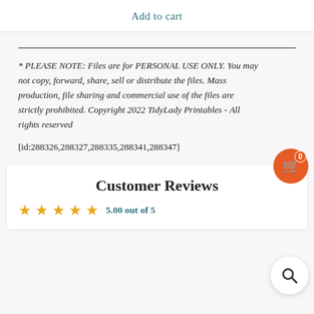Add to cart
* PLEASE NOTE: Files are for PERSONAL USE ONLY. You may not copy, forward, share, sell or distribute the files. Mass production, file sharing and commercial use of the files are strictly prohibited. Copyright 2022 TidyLady Printables - All rights reserved
[id:288326,288327,288335,288341,288347]
Customer Reviews
5.00 out of 5